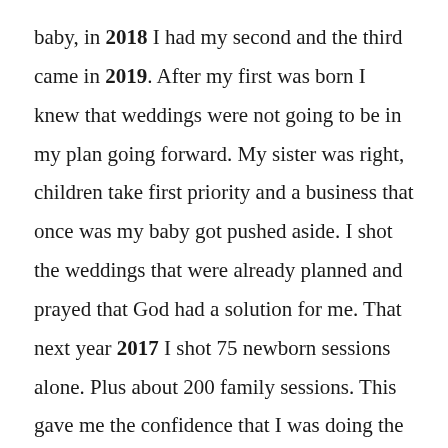baby, in 2018 I had my second and the third came in 2019. After my first was born I knew that weddings were not going to be in my plan going forward. My sister was right, children take first priority and a business that once was my baby got pushed aside. I shot the weddings that were already planned and prayed that God had a solution for me. That next year 2017 I shot 75 newborn sessions alone. Plus about 200 family sessions. This gave me the confidence that I was doing the right thing. The next few years are kinda a blur. I added two kids and went through a stroke with my mom that left her unable to help me with childcare. This stroke happened in the middle of the busiest month of my entire year. I was scrambling to still work and deal with the emotional pain of the stroke. In 2018 I was asked to move on from my studio that we began in. It was a 500 sq foot little house on my grandparents 11 acre estate and it was incredibly hard to imagine my business functioning without it. I had